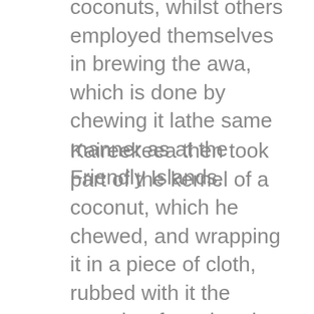coconuts, whilst others employed themselves in brewing the awa, which is done by chewing it lathe same manner as at the Friendly Islands.
Kaireekeea then took part of the kernel of a coconut, which he chewed, and wrapping it in a piece of cloth, rubbed with it the captain's face, head, hands. arms, and shoulders.
The awa was then handed round, and after we had tasted it, Koa and Palea